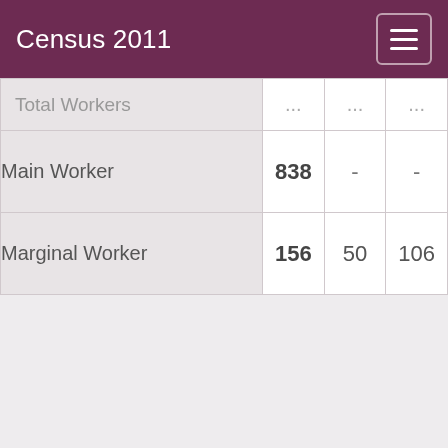Census 2011
|  |  |  |  |
| --- | --- | --- | --- |
| Total Workers | ... | ... | ... |
| Main Worker | 838 | - | - |
| Marginal Worker | 156 | 50 | 106 |